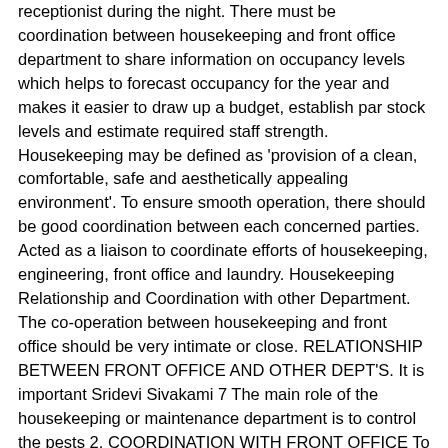receptionist during the night. There must be coordination between housekeeping and front office department to share information on occupancy levels which helps to forecast occupancy for the year and makes it easier to draw up a budget, establish par stock levels and estimate required staff strength. Housekeeping may be defined as 'provision of a clean, comfortable, safe and aesthetically appealing environment'. To ensure smooth operation, there should be good coordination between each concerned parties. Acted as a liaison to coordinate efforts of housekeeping, engineering, front office and laundry. Housekeeping Relationship and Coordination with other Department. The co-operation between housekeeping and front office should be very intimate or close. RELATIONSHIP BETWEEN FRONT OFFICE AND OTHER DEPT'S. It is important Sridevi Sivakami 7 The main role of the housekeeping or maintenance department is to control the pests 2. COORDINATION WITH FRONT OFFICE To ensure efficient rooming of guests, both housekeeping and the front office must